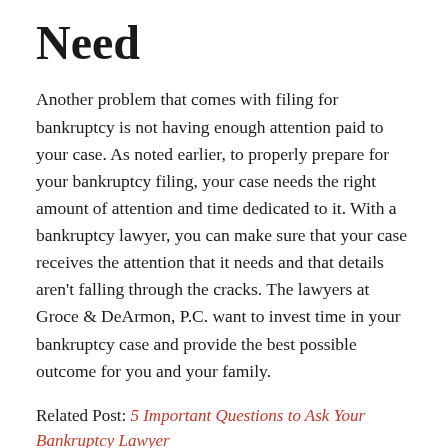Need
Another problem that comes with filing for bankruptcy is not having enough attention paid to your case. As noted earlier, to properly prepare for your bankruptcy filing, your case needs the right amount of attention and time dedicated to it. With a bankruptcy lawyer, you can make sure that your case receives the attention that it needs and that details aren’t falling through the cracks. The lawyers at Groce & DeArmon, P.C. want to invest time in your bankruptcy case and provide the best possible outcome for you and your family.
Related Post: 5 Important Questions to Ask Your Bankruptcy Lawyer
Contact Groce & DeArmon, P.C. For A Bankruptcy La...